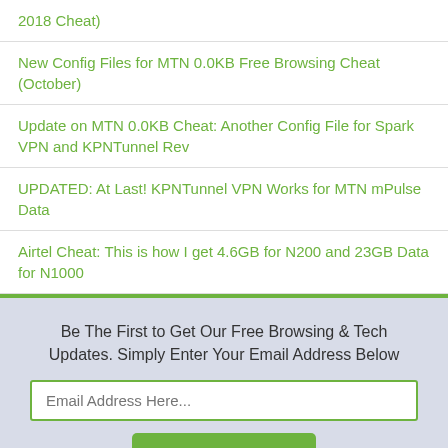2018 Cheat)
New Config Files for MTN 0.0KB Free Browsing Cheat (October)
Update on MTN 0.0KB Cheat: Another Config File for Spark VPN and KPNTunnel Rev
UPDATED: At Last! KPNTunnel VPN Works for MTN mPulse Data
Airtel Cheat: This is how I get 4.6GB for N200 and 23GB Data for N1000
Be The First to Get Our Free Browsing & Tech Updates. Simply Enter Your Email Address Below
Email Address Here...
Activate Now!
24 Responses to "Latest IP For Airtel Live Unlimited Browsing On Psiphon - Stops Disconnection"
I.D  July 04, 2016